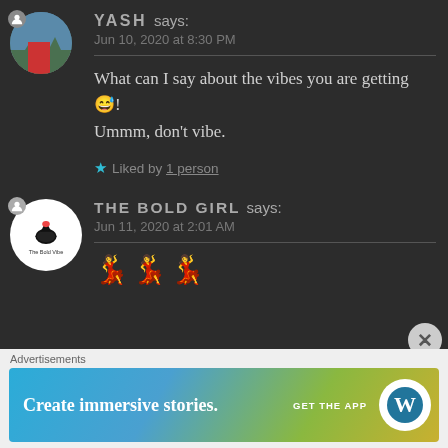YASH says: Jun 10, 2020 at 8:30 PM
What can I say about the vibes you are getting 😅! Ummm, don't vibe.
★ Liked by 1 person
THE BOLD GIRL says: Jun 11, 2020 at 2:01 AM
💃 💃 💃
[Figure (screenshot): WordPress advertisement banner: 'Create immersive stories. GET THE APP' with WordPress logo]
Advertisements